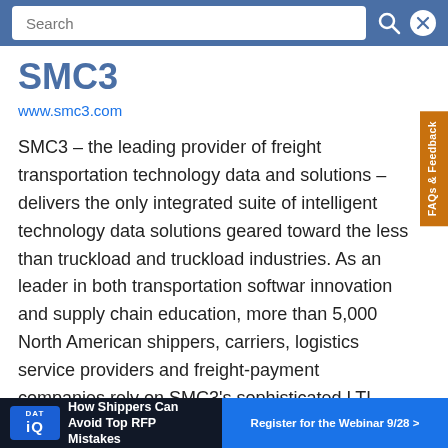Search
SMC3
www.smc3.com
SMC3 – the leading provider of freight transportation technology data and solutions – delivers the only integrated suite of intelligent technology data solutions geared toward the less than truckload and truckload industries. As an leader in both transportation software innovation and supply chain education, more than 5,000 North American shippers, carriers, logistics service providers and freight-payment companies rely on SMC3's sophisticated LTL base rates, content, and expert bidding tools to make the best business decisions, achieve higher returns on their transportation investments, and meet the dynamic
FAQs & Feedback
How Shippers Can Avoid Top RFP Mistakes  Register for the Webinar 9/28 >